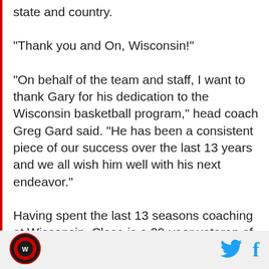state and country.
"Thank you and On, Wisconsin!"
"On behalf of the team and staff, I want to thank Gary for his dedication to the Wisconsin basketball program," head coach Greg Gard said. "He has been a consistent piece of our success over the last 13 years and we all wish him well with his next endeavor."
Having spent the last 13 seasons coaching at Wisconsin, Close is a 29-year veteran of Division I basketball. During his time in Madison, the Badgers made the NCAA tournament all 13 years, including
[Figure (logo): Circular sports team logo with red and black design]
[Figure (logo): Twitter bird icon in cyan/blue]
[Figure (logo): Facebook 'f' icon in cyan/blue]